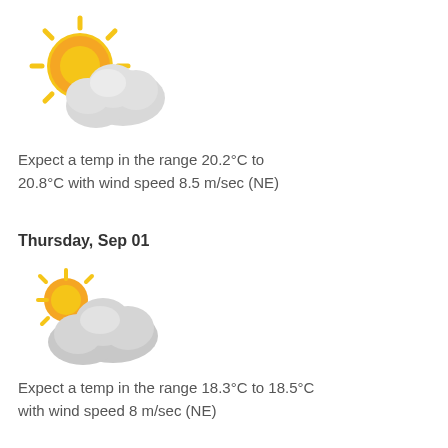[Figure (illustration): Weather icon: partly cloudy with sun behind cloud (larger)]
Expect a temp in the range 20.2°C to 20.8°C with wind speed 8.5 m/sec (NE)
Thursday, Sep 01
[Figure (illustration): Weather icon: partly cloudy with sun behind cloud (smaller, more cloud-dominant)]
Expect a temp in the range 18.3°C to 18.5°C with wind speed 8 m/sec (NE)